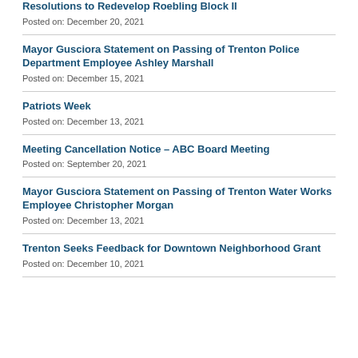Resolutions to Redevelop Roebling Block II
Posted on: December 20, 2021
Mayor Gusciora Statement on Passing of Trenton Police Department Employee Ashley Marshall
Posted on: December 15, 2021
Patriots Week
Posted on: December 13, 2021
Meeting Cancellation Notice – ABC Board Meeting
Posted on: September 20, 2021
Mayor Gusciora Statement on Passing of Trenton Water Works Employee Christopher Morgan
Posted on: December 13, 2021
Trenton Seeks Feedback for Downtown Neighborhood Grant
Posted on: December 10, 2021